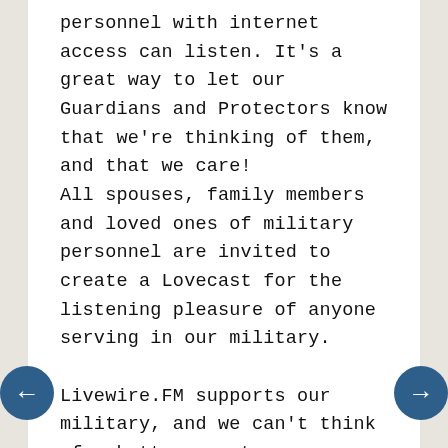personnel with internet access can listen. It's a great way to let our Guardians and Protectors know that we're thinking of them, and that we care!
All spouses, family members and loved ones of military personnel are invited to create a Lovecast for the listening pleasure of anyone serving in our military.

Livewire.FM supports our military, and we can't think of a better way to say "thanks!"
To arrange to record your own personalized Lovecast, please